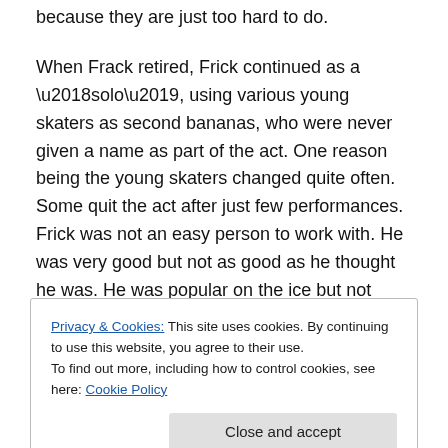because they are just too hard to do.
When Frack retired, Frick continued as a ‘solo’, using various young skaters as second bananas, who were never given a name as part of the act. One reason being the young skaters changed quite often. Some quit the act after just few performances. Frick was not an easy person to work with. He was very good but not as good as he thought he was. He was popular on the ice but not backstage. He was not friendly to his fellow skaters or the stagehands.
Privacy & Cookies: This site uses cookies. By continuing to use this website, you agree to their use. To find out more, including how to control cookies, see here: Cookie Policy
take over the role. He found a youngster who was so good